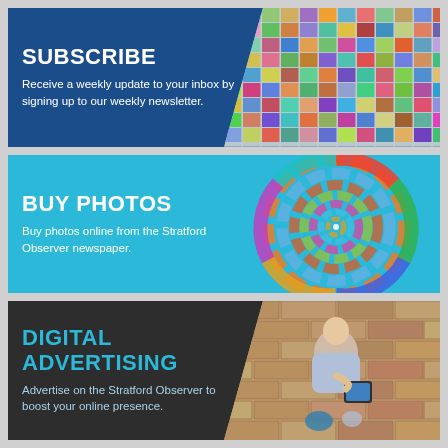[Figure (infographic): SUBSCRIBE banner with dark blue background, white bold text heading 'SUBSCRIBE', body text 'Receive a weekly update to your inbox by signing up to our weekly newsletter.' and a photo collage mosaic on the right side.]
[Figure (infographic): BUY PHOTOS banner with light blue/cyan background, white bold text heading 'BUY PHOTOS', body text 'Buy photos online from the Stratford Observer newspaper.' and a spiral vortex of colorful photos on the right side.]
[Figure (infographic): DIGITAL ADVERTISING banner with dark charcoal background, cyan bold text heading 'DIGITAL ADVERTISING', light blue body text 'Advertise on the Stratford Observer to boost your online presence.' and a photo of a man in a blue shirt sitting against a brick wall holding a tablet on the right side.]